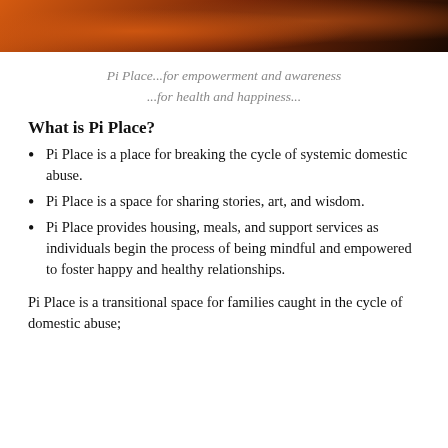[Figure (photo): Partial photo of a person with dark hair against an orange/brown background, cropped at the top of the page]
Pi Place...for empowerment and awareness
...for health and happiness...
What is Pi Place?
Pi Place is a place for breaking the cycle of systemic domestic abuse.
Pi Place is a space for sharing stories, art, and wisdom.
Pi Place provides housing, meals, and support services as individuals begin the process of being mindful and empowered to foster happy and healthy relationships.
Pi Place is a transitional space for families caught in the cycle of domestic abuse;